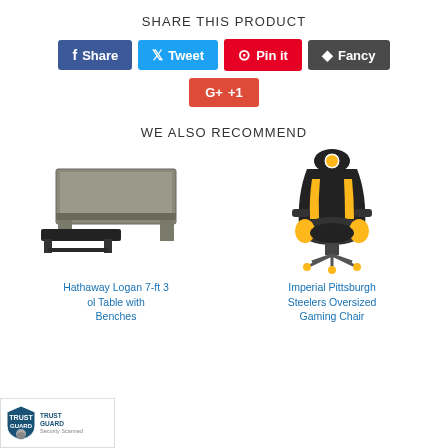SHARE THIS PRODUCT
[Figure (infographic): Social sharing buttons: Share (Facebook), Tweet (Twitter), Pin it (Pinterest), Fancy, and Google +1]
WE ALSO RECOMMEND
[Figure (photo): Hathaway Logan 7-ft 3 Pool Table with Benches - gray wooden pool table with black bench]
[Figure (photo): Imperial Pittsburgh Steelers Oversized Gaming Chair - black and yellow gaming chair with Steelers logo]
Hathaway Logan 7-ft 3 Pool Table with Benches
Imperial Pittsburgh Steelers Oversized Gaming Chair
[Figure (logo): Trust Guard Security Scanned badge]